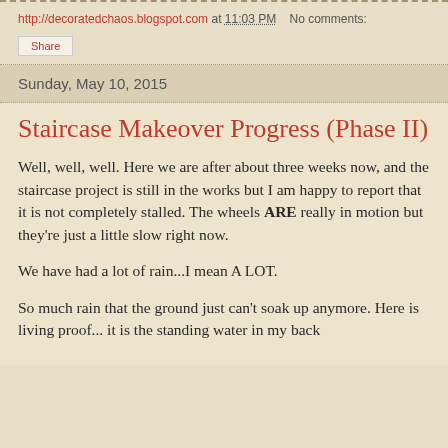http://decoratedchaos.blogspot.com at 11:03 PM   No comments:
Share
Sunday, May 10, 2015
Staircase Makeover Progress (Phase II)
Well, well, well. Here we are after about three weeks now, and the staircase project is still in the works but I am happy to report that it is not completely stalled. The wheels ARE really in motion but they're just a little slow right now.
We have had a lot of rain...I mean A LOT.
So much rain that the ground just can't soak up anymore. Here is living proof... it is the standing water in my back